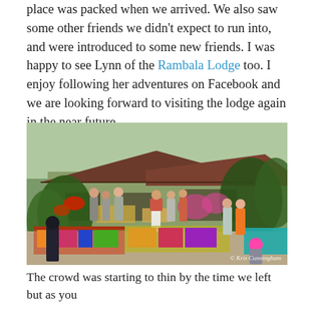place was packed when we arrived. We also saw some other friends we didn't expect to run into, and were introduced to some new friends. I was happy to see Lynn of the Rambala Lodge too. I enjoy following her adventures on Facebook and we are looking forward to visiting the lodge again in the near future.
[Figure (photo): Outdoor market or craft fair scene at a tropical lodge. People browse vendor tables with colorful goods spread out on tables in a lush garden setting in front of a building with a red corrugated metal roof. A watermark reads '© Kris Cunningham' in the bottom right corner.]
The crowd was starting to thin by the time we left but as you